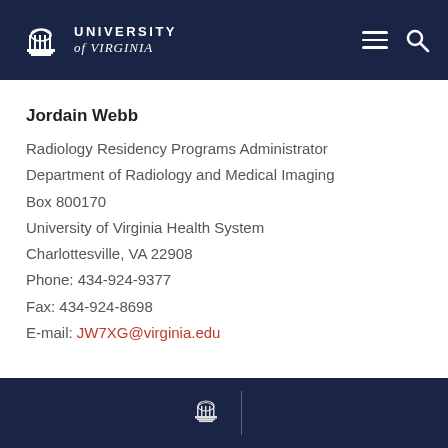University of Virginia
Jordain Webb
Radiology Residency Programs Administrator
Department of Radiology and Medical Imaging
Box 800170
University of Virginia Health System
Charlottesville, VA 22908
Phone: 434-924-9377
Fax: 434-924-8698
E-mail: JW7XG@virginia.edu
University of Virginia